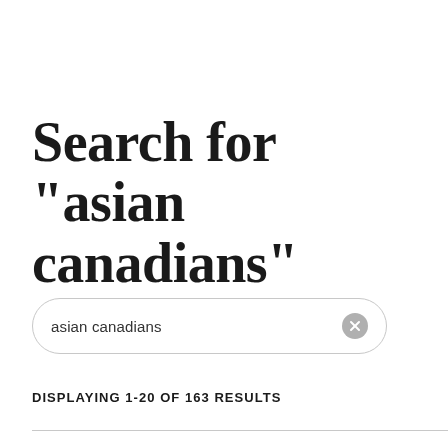Search for "asian canadians"
asian canadians
DISPLAYING 1-20 OF 163 RESULTS